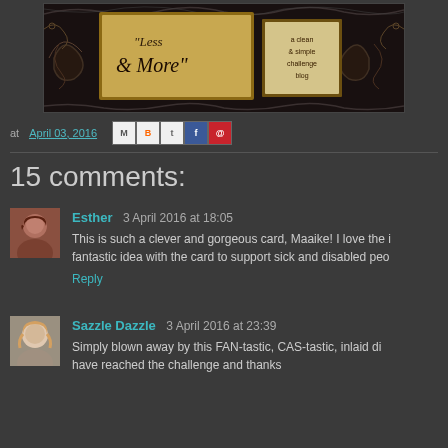[Figure (illustration): Blog header image for 'Less is More' - a clean and simple challenge blog. Decorative dark background with ornate flourishes, featuring a central panel with cursive 'Less & More' text and a side panel reading 'a clean & simple challenge blog'.]
at April 03, 2016
15 comments:
Esther  3 April 2016 at 18:05
This is such a clever and gorgeous card, Maaike! I love the i fantastic idea with the card to support sick and disabled peo
Reply
Sazzle Dazzle  3 April 2016 at 23:39
Simply blown away by this FAN-tastic, CAS-tastic, inlaid di have reached the challenge and thanks